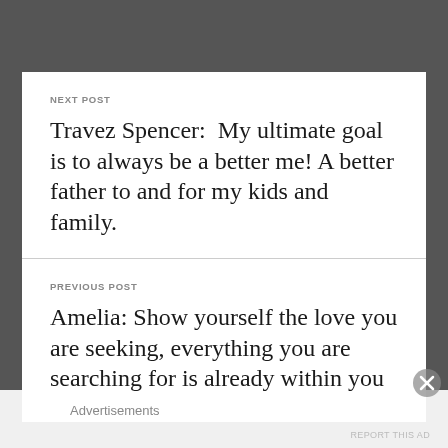NEXT POST
Travez Spencer:  My ultimate goal is to always be a better me! A better father to and for my kids and family.
PREVIOUS POST
Amelia: Show yourself the love you are seeking, everything you are searching for is already within you
Advertisements
REPORT THIS AD